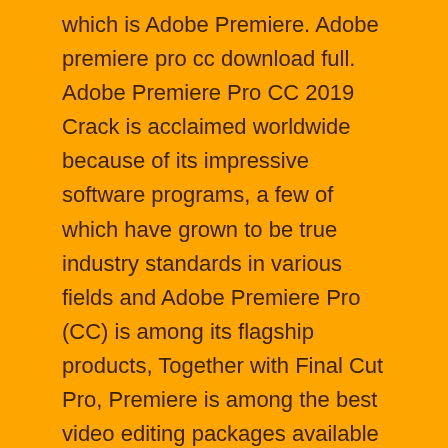which is Adobe Premiere. Adobe premiere pro cc download full. Adobe Premiere Pro CC 2019 Crack is acclaimed worldwide because of its impressive software programs, a few of which have grown to be true industry standards in various fields and Adobe Premiere Pro (CC) is among its flagship products, Together with Final Cut Pro, Premiere is among the best video editing packages available on the market, Observe that Adobe Premiere has become a part of Creative Cloud (CC) meaning it is just on a regular monthly subscription basis as opposed to a one-off. Adobe Premiere Pro CC 2015.3 Crack  is an outstanding and